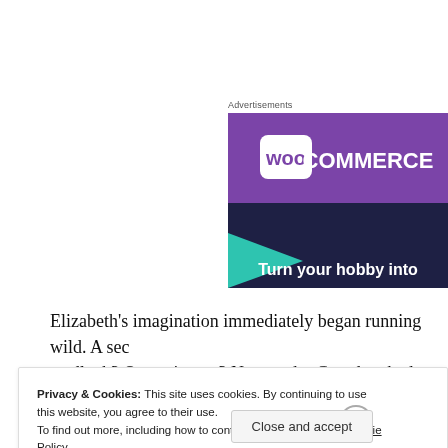Advertisements
[Figure (screenshot): WooCommerce advertisement banner showing purple background with WooCommerce logo (speech bubble with 'woo' text) and text 'Turn your hobby into']
Elizabeth's imagination immediately began running wild. A sec… wedlock? Or a mistress? No wonder Grandma had kept the pock…
Privacy & Cookies: This site uses cookies. By continuing to use this website, you agree to their use.
To find out more, including how to control cookies, see here: Cookie Policy
Close and accept